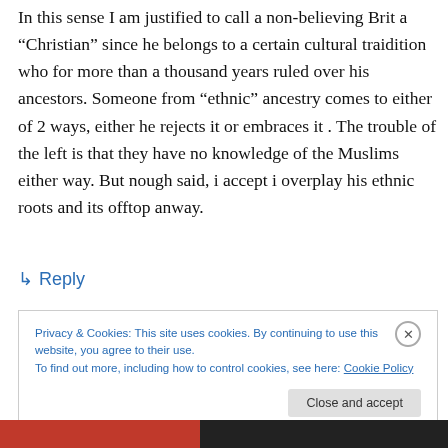In this sense I am justified to call a non-believing Brit a “Christian” since he belongs to a certain cultural traidition who for more than a thousand years ruled over his ancestors. Someone from “ethnic” ancestry comes to either of 2 ways, either he rejects it or embraces it . The trouble of the left is that they have no knowledge of the Muslims either way. But nough said, i accept i overplay his ethnic roots and its offtop anway.
↳ Reply
Privacy & Cookies: This site uses cookies. By continuing to use this website, you agree to their use.
To find out more, including how to control cookies, see here: Cookie Policy
Close and accept